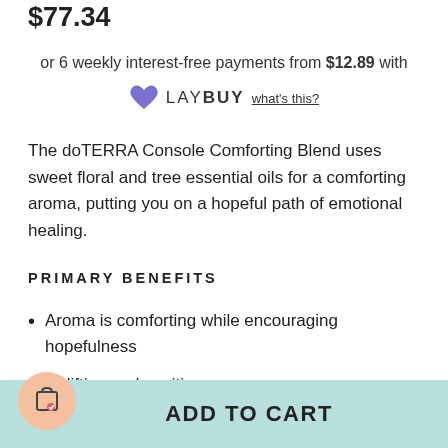$77.34
or 6 weekly interest-free payments from $12.89 with
[Figure (logo): Laybuy logo: purple heart icon followed by LAY in normal weight and BUY in bold, with 'what's this?' underlined link]
The doTERRA Console Comforting Blend uses sweet floral and tree essential oils for a comforting aroma, putting you on a hopeful path of emotional healing.
PRIMARY BENEFITS
Aroma is comforting while encouraging hopefulness
Uplifting and positive
ADD TO CART